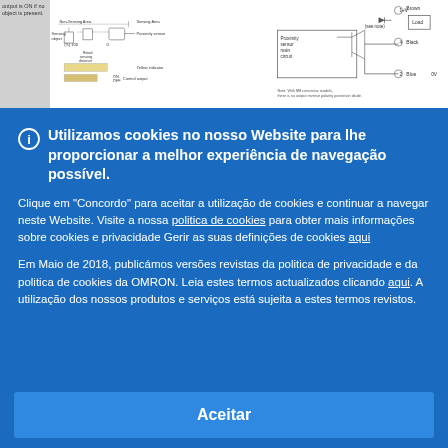[Figure (schematic): Technical diagram strip at top showing proximity sensor sensing distance and output wiring circuit diagrams]
Utilizamos cookies no nosso Website para lhe proporcionar a melhor experiência de navegação possível.
Clique em "Concordo" para aceitar a utilização de cookies e continuar a navegar neste Website. Visite a nossa politica de cookies para obter mais informações sobre cookies e privacidade Gerir as suas definições de cookies aqui
Em Maio de 2018, publicámos versões revistas da politica de privacidade e da politica de cookies da OMRON. Leia estes termos actualizados clicando aqui. A utilização dos nossos produtos e serviços está sujeita a estes termos revistos.
Aceitar